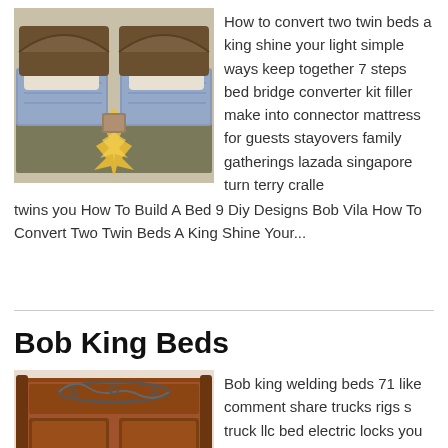[Figure (photo): Two twin beds with wooden headboards and blue patterned mattresses, with a star-burst graphic overlay showing a connector bridge between them]
How to convert two twin beds a king shine your light simple ways keep together 7 steps bed bridge converter kit filler make into connector mattress for guests stayovers family gatherings lazada singapore turn terry cralle twins you How To Build A Bed 9 Diy Designs Bob Vila How To Convert Two Twin Beds A King Shine Your...
Bob King Beds
[Figure (photo): Wooden bed headboard with decorative metal scrollwork, dark reddish-brown wood]
Bob king welding beds 71 like comment share trucks rigs s truck llc bed electric locks you